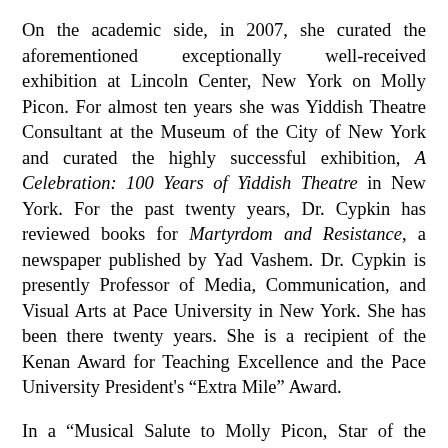On the academic side, in 2007, she curated the aforementioned exceptionally well-received exhibition at Lincoln Center, New York on Molly Picon. For almost ten years she was Yiddish Theatre Consultant at the Museum of the City of New York and curated the highly successful exhibition, A Celebration: 100 Years of Yiddish Theatre in New York. For the past twenty years, Dr. Cypkin has reviewed books for Martyrdom and Resistance, a newspaper published by Yad Vashem. Dr. Cypkin is presently Professor of Media, Communication, and Visual Arts at Pace University in New York. She has been there twenty years. She is a recipient of the Kenan Award for Teaching Excellence and the Pace University President's “Extra Mile” Award.
In a “Musical Salute to Molly Picon, Star of the Yiddish Theatre!” Dr. Cypkin tells—through English narration—the life story of this exciting First Lady of the Yiddish Stage through the countless songs she